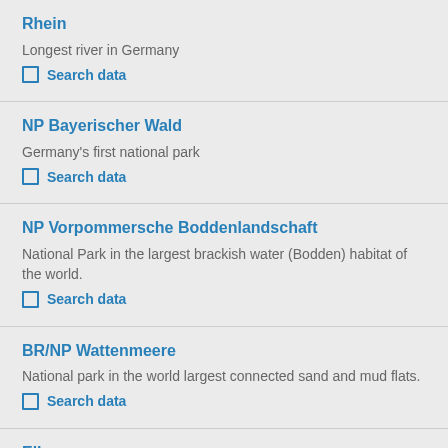Rhein
Longest river in Germany
☐ Search data
NP Bayerischer Wald
Germany's first national park
☐ Search data
NP Vorpommersche Boddenlandschaft
National Park in the largest brackish water (Bodden) habitat of the world.
☐ Search data
BR/NP Wattenmeere
National park in the world largest connected sand and mud flats.
☐ Search data
Elbe
Fourth largest river basin in Central Europe